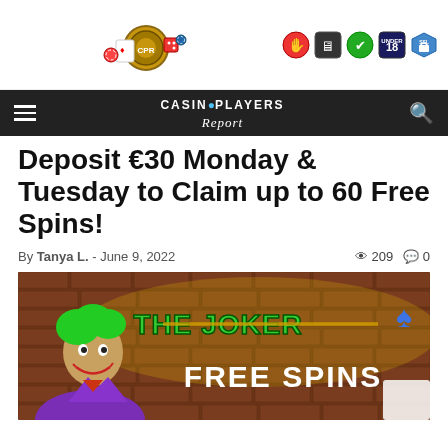[Figure (illustration): Casino Players Report website header with casino chips/cards imagery and trust badges (GamCare, SSL, age verification icons)]
CASINO PLAYERS Report
Deposit €30 Monday & Tuesday to Claim up to 60 Free Spins!
By Tanya L. – June 9, 2022  👁 209  💬 0
[Figure (illustration): The Joker Free Spins promotional banner showing a joker character with green hair on the left and 'THE JOKER FREE SPINS' text over a brick wall background with golden light effect]